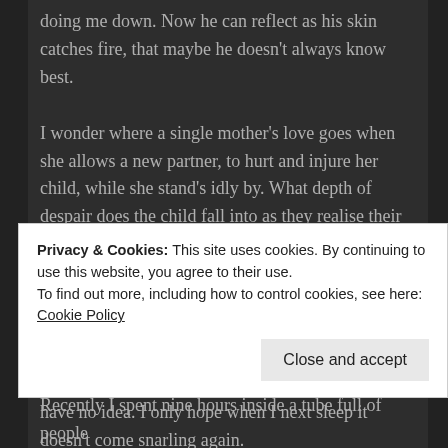doing me down. Now he can reflect as his skin catches fire, that maybe he doesn't always know best.
I wonder where a single mother's love goes when she allows a new partner, to hurt and injure her child, while she stand's idly by. What depth of despair does the child fall into as they realise their own mother just doesn't care?
An animal came to me in a nightmare and tried to bite me with its sharp snarling teeth. I woke frightened and sweating, terrified of this furry Ferret like beast. What caused this visitation? I have no idea. I only hope when I next sleep it doesn't come snarling again.
Privacy & Cookies: This site uses cookies. By continuing to use this website, you agree to their use.
To find out more, including how to control cookies, see here: Cookie Policy
Recently I spent nine hours inside a tube full of people